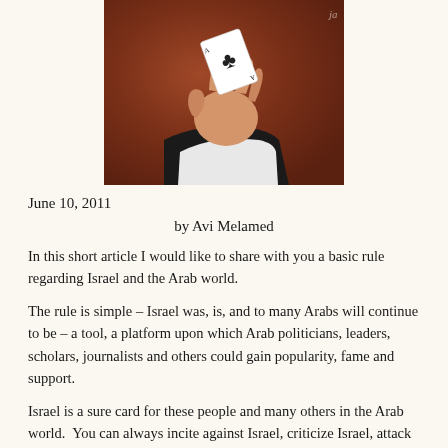[Figure (photo): A hand in a suit holding up a playing card (ace of clubs) against a reddish-brown background]
June 10, 2011
by Avi Melamed
In this short article I would like to share with you a basic rule regarding Israel and the Arab world.
The rule is simple – Israel was, is, and to many Arabs will continue to be – a tool, a platform upon which Arab politicians, leaders, scholars, journalists and others could gain popularity, fame and support.
Israel is a sure card for these people and many others in the Arab world.  You can always incite against Israel, criticize Israel, attack Israel, and condemn Israel.  That's a great way to escape